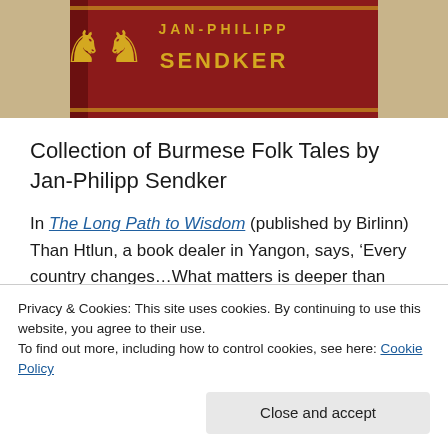[Figure (photo): Photo of a book with dark red/maroon cover featuring gold lion emblems and the author name JAN-PHILIPP SENDKER in gold lettering on the spine/cover]
Collection of Burmese Folk Tales by Jan-Philipp Sendker
In The Long Path to Wisdom (published by Birlinn) Than Htlun, a book dealer in Yangon, says, ‘Every country changes…What matters is deeper than that. And the soul of a people, as it is described in folk
Privacy & Cookies: This site uses cookies. By continuing to use this website, you agree to their use.
To find out more, including how to control cookies, see here: Cookie Policy
Close and accept